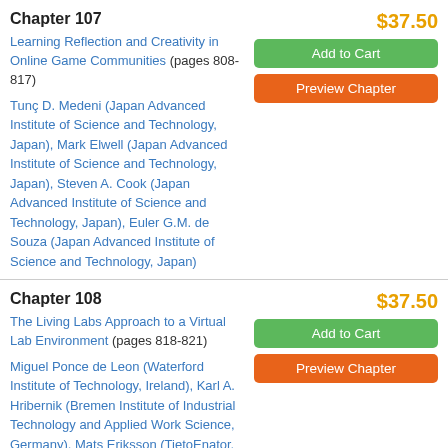Chapter 107
$37.50
Learning Reflection and Creativity in Online Game Communities (pages 808-817)
Add to Cart
Preview Chapter
Tunç D. Medeni (Japan Advanced Institute of Science and Technology, Japan), Mark Elwell (Japan Advanced Institute of Science and Technology, Japan), Steven A. Cook (Japan Advanced Institute of Science and Technology, Japan), Euler G.M. de Souza (Japan Advanced Institute of Science and Technology, Japan)
Chapter 108
$37.50
The Living Labs Approach to a Virtual Lab Environment (pages 818-821)
Add to Cart
Preview Chapter
Miguel Ponce de Leon (Waterford Institute of Technology, Ireland), Karl A. Hribernik (Bremen Institute of Industrial Technology and Applied Work Science, Germany), Mats Eriksson (TietoEnator, Luleå, Sweden)
Chapter 109
$37.50
Local Networks in Global Markets (pages 822-828)
Add to Cart